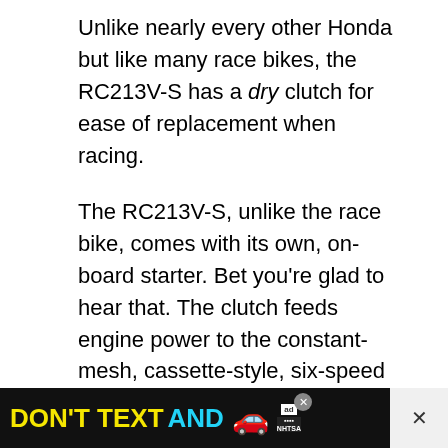Unlike nearly every other Honda but like many race bikes, the RC213V-S has a dry clutch for ease of replacement when racing.
The RC213V-S, unlike the race bike, comes with its own, on-board starter. Bet you're glad to hear that. The clutch feeds engine power to the constant-mesh, cassette-style, six-speed gearbox, and one very strong chain makes the final connection to the rear wheel.
In the end, all of this delightfulness gives us a total of 101 horsepower and 66 pound-feet o... 8,000 rpm. Naturally, absolute top speed will be
[Figure (screenshot): Advertisement banner at the bottom: 'DON'T TEXT AND' with a car emoji, ad badge, and NHTSA logo on black background. Close button on the right.]